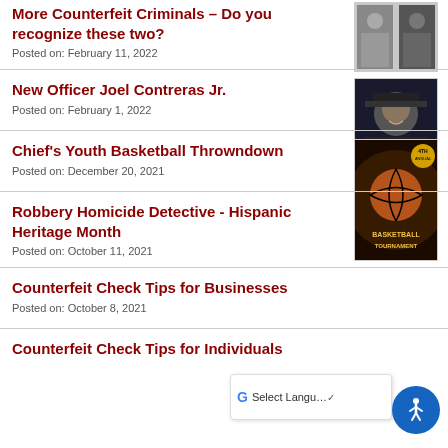More Counterfeit Criminals – Do you recognize these two?
Posted on: February 11, 2022
New Officer Joel Contreras Jr.
Posted on: February 1, 2022
Chief's Youth Basketball Throwndown
Posted on: December 20, 2021
Robbery Homicide Detective - Hispanic Heritage Month
Posted on: October 11, 2021
Counterfeit Check Tips for Businesses
Posted on: October 8, 2021
Counterfeit Check Tips for Individuals